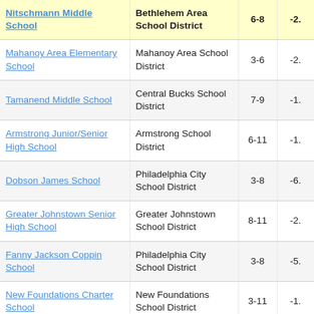| School | District | Grades | Score |
| --- | --- | --- | --- |
| Nitschmann Middle School | Bethlehem Area School District | 6-8 | -2. |
| Mahanoy Area Elementary School | Mahanoy Area School District | 3-6 | -2. |
| Tamanend Middle School | Central Bucks School District | 7-9 | -1. |
| Armstrong Junior/Senior High School | Armstrong School District | 6-11 | -1. |
| Dobson James School | Philadelphia City School District | 3-8 | -6. |
| Greater Johnstown Senior High School | Greater Johnstown School District | 8-11 | -2. |
| Fanny Jackson Coppin School | Philadelphia City School District | 3-8 | -5. |
| New Foundations Charter School | New Foundations School District | 3-11 | -1. |